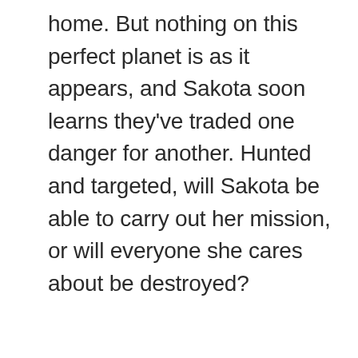home. But nothing on this perfect planet is as it appears, and Sakota soon learns they've traded one danger for another. Hunted and targeted, will Sakota be able to carry out her mission, or will everyone she cares about be destroyed?